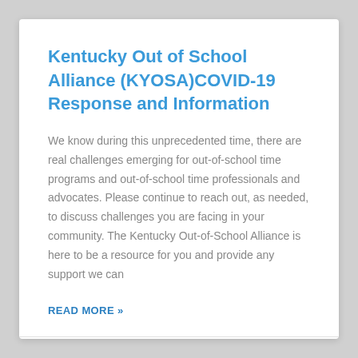Kentucky Out of School Alliance (KYOSA)COVID-19 Response and Information
We know during this unprecedented time, there are real challenges emerging for out-of-school time programs and out-of-school time professionals and advocates. Please continue to reach out, as needed, to discuss challenges you are facing in your community.  The Kentucky Out-of-School Alliance is here to be a resource for you and provide any support we can
READ MORE »
March 27, 2020